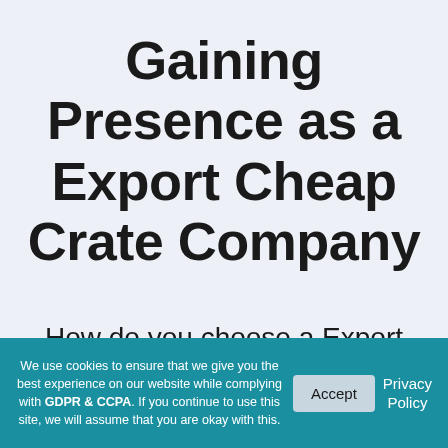Gaining Presence as a Export Cheap Crate Company
How do you choose a Export cheap crate manufacturer?
We use cookies to ensure that we give you the best experience on our website while complying with GDPR & CCPA. If you continue to use this site, we will assume that you are okay with this.